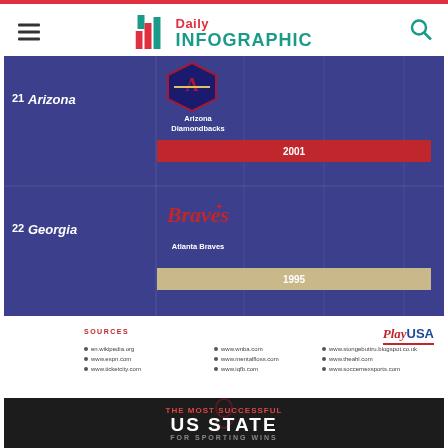Daily Infographic
[Figure (infographic): Infographic rows showing US states, their sports teams, and championship years. Row 21: Arizona - Arizona Diamondbacks - 2001. Row 22: Georgia - Atlanta Braves - 1995.]
SOURCES
en.wikipedia.org
www.espn.com
www.ticketcity.com
www.wnba.com
www.mentalfloss.com
www.iqfb.com
www.stongebuttru.blogspot.co.uk
www.theahl.com
www.soccernexsports.com
[Figure (infographic): Bottom banner: 'The Most Successful US State for Sporting Wins']